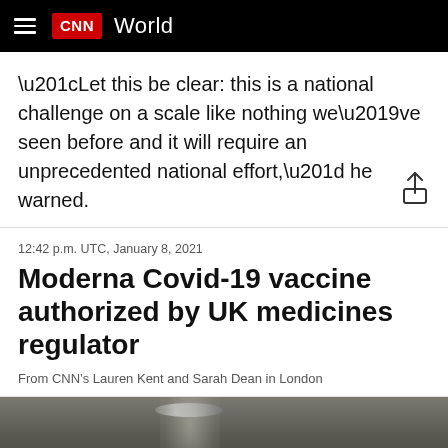CNN World
“Let this be clear: this is a national challenge on a scale like nothing we’ve seen before and it will require an unprecedented national effort,” he warned.
12:42 p.m. UTC, January 8, 2021
Moderna Covid-19 vaccine authorized by UK medicines regulator
From CNN’s Lauren Kent and Sarah Dean in London
[Figure (photo): Close-up photo of a glass vial, partially visible, on a grey background]